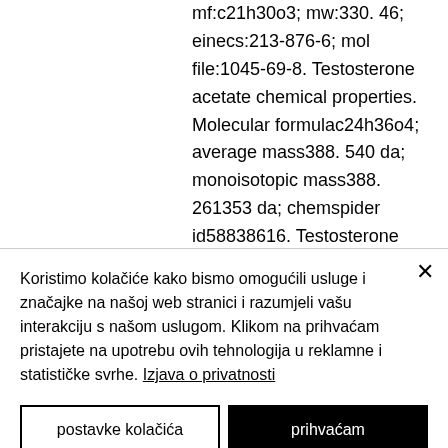mf:c21h30o3; mw:330. 46; einecs:213-876-6; mol file:1045-69-8. Testosterone acetate chemical properties. Molecular formulac24h36o4; average mass388. 540 da; monoisotopic mass388. 261353 da; chemspider id58838616. Testosterone cypionate is an esterified anabolic which allows it to present a greater degree of solubility in fats and thus, the release and absorption.
prise de dianabol, musculation gynécomastie, y a entraînement, danabol mastercard, quelle créatine choisir
Koristimo kolačiće kako bismo omogućili usluge i značajke na našoj web stranici i razumjeli vašu interakciju s našom uslugom. Klikom na prihvaćam pristajete na upotrebu ovih tehnologija u reklamne i statističke svrhe. Izjava o privatnosti
postavke kolačića
prihvaćam